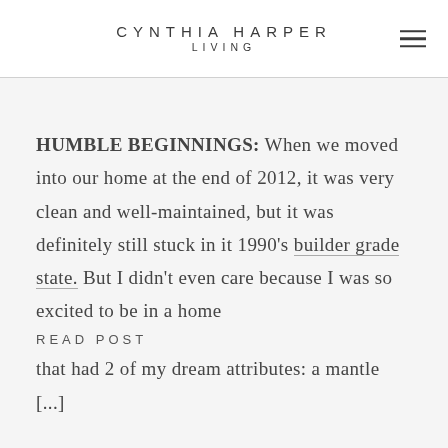CYNTHIA HARPER LIVING
HUMBLE BEGINNINGS: When we moved into our home at the end of 2012, it was very clean and well-maintained, but it was definitely still stuck in it 1990's builder grade state. But I didn't even care because I was so excited to be in a home that had 2 of my dream attributes: a mantle [...]
READ POST